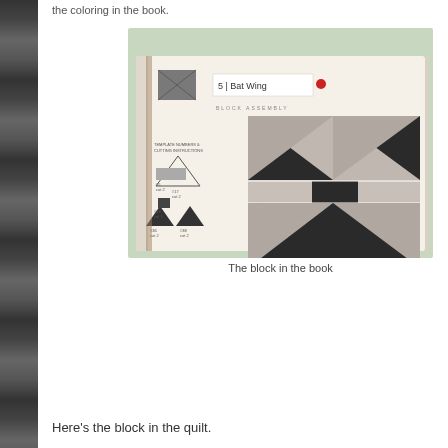the coloring in the book.
[Figure (photo): A photograph of an open quilt pattern book showing page for block #5 'Bat Wing', with template cutting instructions on the left showing triangles and rectangles, and a block assembly diagram on the right showing a bat wing quilt pattern in dark gray and light gray tones. The book is placed on a green cutting mat.]
The block in the book
Here's the block in the quilt.